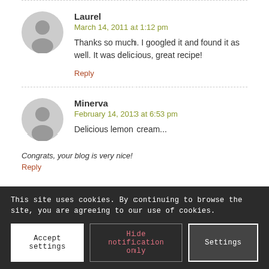Laurel
March 14, 2011 at 1:12 pm
Thanks so much. I googled it and found it as well. It was delicious, great recipe!
Reply
Minerva
February 14, 2013 at 6:53 pm
Delicious lemon cream...
Congrats, your blog is very nice!
Reply
This site uses cookies. By continuing to browse the site, you are agreeing to our use of cookies.